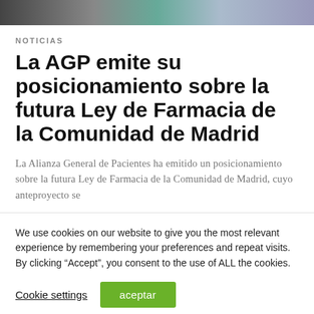[Figure (photo): Partial photo strip at top of page, showing blurred image of what appears to be a pharmacy or medical setting]
NOTICIAS
La AGP emite su posicionamiento sobre la futura Ley de Farmacia de la Comunidad de Madrid
La Alianza General de Pacientes ha emitido un posicionamiento sobre la futura Ley de Farmacia de la Comunidad de Madrid, cuyo anteproyecto se
We use cookies on our website to give you the most relevant experience by remembering your preferences and repeat visits. By clicking “Accept”, you consent to the use of ALL the cookies.
Cookie settings  aceptar